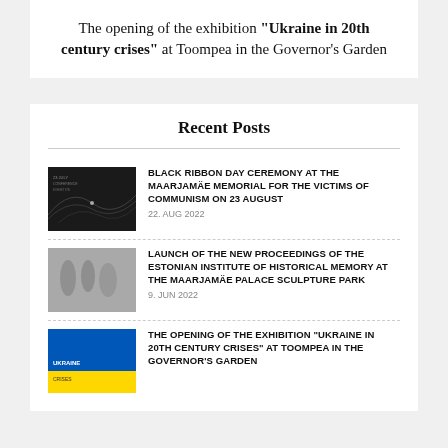The opening of the exhibition “Ukraine in 20th century crises” at Toompea in the Governor’s Garden
Recent Posts
BLACK RIBBON DAY CEREMONY AT THE MAARJAMÄE MEMORIAL FOR THE VICTIMS OF COMMUNISM ON 23 AUGUST
22. AUG 2022
LAUNCH OF THE NEW PROCEEDINGS OF THE ESTONIAN INSTITUTE OF HISTORICAL MEMORY AT THE MAARJAMÄE PALACE SCULPTURE PARK
9. JUN 2022
THE OPENING OF THE EXHIBITION “UKRAINE IN 20TH CENTURY CRISES” AT TOOMPEA IN THE GOVERNOR’S GARDEN